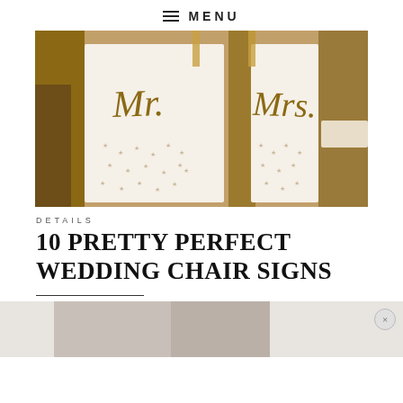≡ MENU
[Figure (photo): Wedding chair signs reading 'Mr.' and 'Mrs.' in gold script on white fabric with star pattern, draped over gold chiavari chairs]
DETAILS
10 PRETTY PERFECT WEDDING CHAIR SIGNS
[Figure (photo): Partially visible advertisement or secondary image at the bottom of the page with a close button (×)]